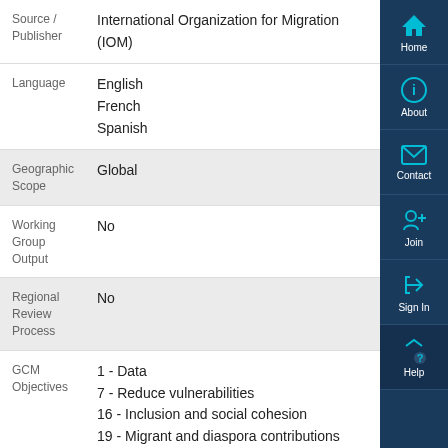| Field | Value |
| --- | --- |
| Source / Publisher | International Organization for Migration (IOM) |
| Language | English
French
Spanish |
| Geographic Scope | Global |
| Working Group Output | No |
| Regional Review Process | No |
| GCM Objectives | 1 - Data
7 - Reduce vulnerabilities
16 - Inclusion and social cohesion
19 - Migrant and diaspora contributions |
[Figure (screenshot): Navigation sidebar with icons for Home, About, Contact, Join, Sign In, and Help on dark blue background]